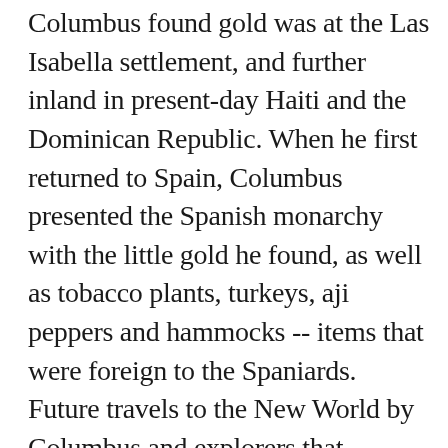Columbus found gold was at the Las Isabella settlement, and further inland in present-day Haiti and the Dominican Republic. When he first returned to Spain, Columbus presented the Spanish monarchy with the little gold he found, as well as tobacco plants, turkeys, aji peppers and hammocks -- items that were foreign to the Spaniards. Future travels to the New World by Columbus and explorers that followed led to the discovery of more gold, other precious metals, and other foods for the Spanish monarchy.